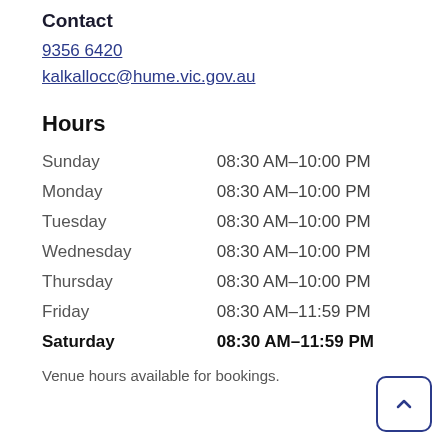Contact
9356 6420
kalkallocc@hume.vic.gov.au
Hours
| Day | Hours |
| --- | --- |
| Sunday | 08:30 AM–10:00 PM |
| Monday | 08:30 AM–10:00 PM |
| Tuesday | 08:30 AM–10:00 PM |
| Wednesday | 08:30 AM–10:00 PM |
| Thursday | 08:30 AM–10:00 PM |
| Friday | 08:30 AM–11:59 PM |
| Saturday | 08:30 AM–11:59 PM |
Venue hours available for bookings.